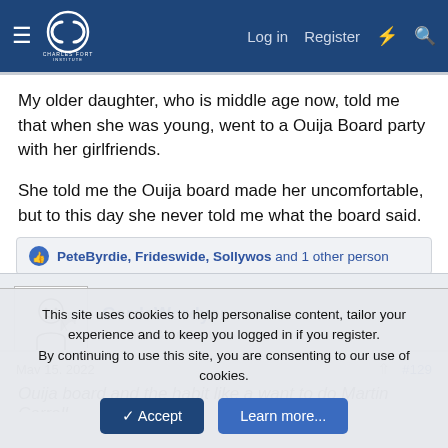Charles Fort Institute — Log in | Register
My older daughter, who is middle age now, told me that when she was young, went to a Ouija Board party with her girlfriends.
She told me the Ouija board made her uncomfortable, but to this day she never told me what the board said.
PeteByrdie, Frideswide, Sollywos and 1 other person
GerdaWordyer
Justified & Ancient
May 15, 2022  #129
This site uses cookies to help personalise content, tailor your experience and to keep you logged in if you register.
By continuing to use this site, you are consenting to our use of cookies.